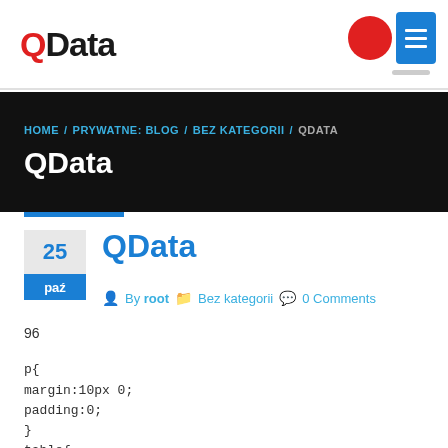QData
HOME / PRYWATNE: BLOG / BEZ KATEGORII / QDATA
QData
25 paź  By root  Bez kategorii  0 Comments
96
p{
margin:10px 0;
padding:0;
}
table{